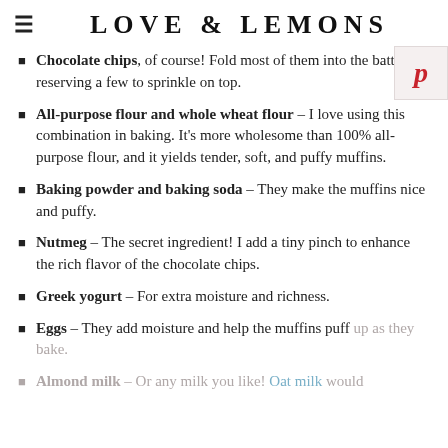≡  LOVE & LEMONS
Chocolate chips, of course! Fold most of them into the batter, reserving a few to sprinkle on top.
All-purpose flour and whole wheat flour – I love using this combination in baking. It's more wholesome than 100% all-purpose flour, and it yields tender, soft, and puffy muffins.
Baking powder and baking soda – They make the muffins nice and puffy.
Nutmeg – The secret ingredient! I add a tiny pinch to enhance the rich flavor of the chocolate chips.
Greek yogurt – For extra moisture and richness.
Eggs – They add moisture and help the muffins puff up as they bake.
Almond milk – Or any milk you like! Oat milk would